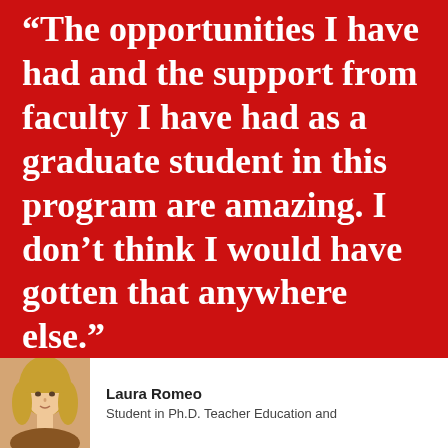“The opportunities I have had and the support from faculty I have had as a graduate student in this program are amazing. I don’t think I would have gotten that anywhere else.”
[Figure (photo): Headshot photo of Laura Romeo, a blonde woman]
Laura Romeo
Student in Ph.D. Teacher Education and